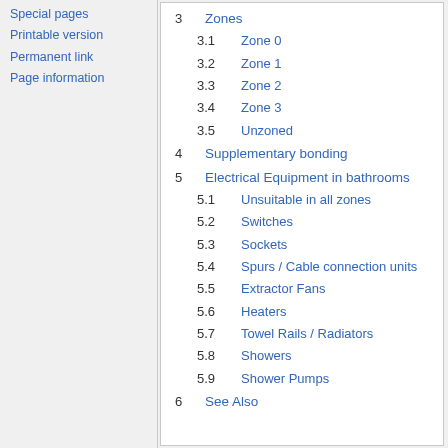Special pages
Printable version
Permanent link
Page information
3  Zones
3.1  Zone 0
3.2  Zone 1
3.3  Zone 2
3.4  Zone 3
3.5  Unzoned
4  Supplementary bonding
5  Electrical Equipment in bathrooms
5.1  Unsuitable in all zones
5.2  Switches
5.3  Sockets
5.4  Spurs / Cable connection units
5.5  Extractor Fans
5.6  Heaters
5.7  Towel Rails / Radiators
5.8  Showers
5.9  Shower Pumps
6  See Also